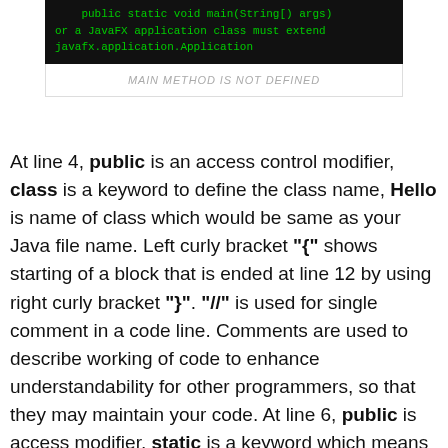[Figure (screenshot): Dark terminal/IDE screenshot showing green code text: 'public static void main(String[] args)' and 'or a JavaFX application class must extend javafx.application.Application']
MAIN METHOD IS NOT DEFINED
At line 4, public is an access control modifier, class is a keyword to define the class name, Hello is name of class which would be same as your Java file name. Left curly bracket "{" shows starting of a block that is ended at line 12 by using right curly bracket "}". "//" is used for single comment in a code line. Comments are used to describe working of code to enhance understandability for other programmers, so that they may maintain your code. At line 6, public is access modifier, static is a keyword which means that method can be used directly with class name, there is no need to create object of class to call this method, void is return type, we will discuss return type in detail in next